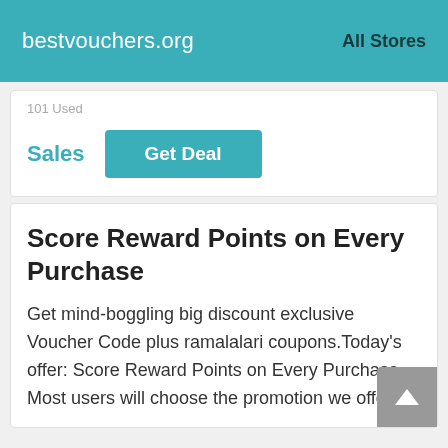bestvouchers.org   All Stores
101 Used
Sales
Get Deal
Score Reward Points on Every Purchase
Get mind-boggling big discount exclusive Voucher Code plus ramalalari coupons.Today's offer: Score Reward Points on Every Purchase. Most users will choose the promotion we offer.